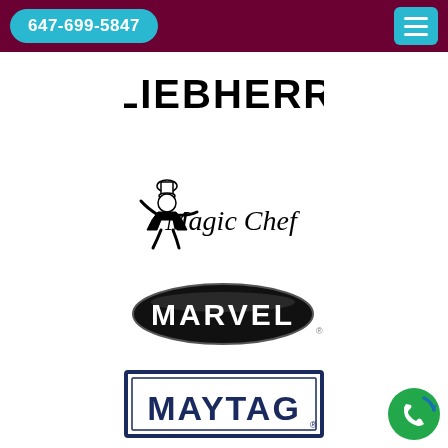647-699-5847
[Figure (logo): LIEBHERR brand logo in bold black uppercase letters]
[Figure (logo): Magic Chef brand logo with chef mascot illustration and stylized text]
[Figure (logo): MARVEL brand logo in white uppercase letters on black oval/pill shape]
[Figure (logo): MAYTAG brand logo in bold uppercase letters within a rectangular border frame]